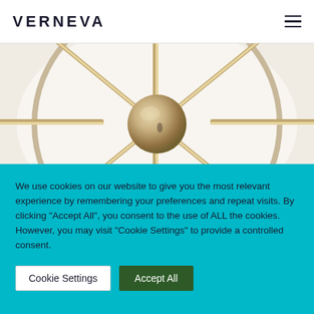VERNEVA
[Figure (photo): Close-up of a decorative wall clock center hub with chrome/nickel finish metal spokes radiating outward on a light background]
We use cookies on our website to give you the most relevant experience by remembering your preferences and repeat visits. By clicking “Accept All”, you consent to the use of ALL the cookies. However, you may visit "Cookie Settings" to provide a controlled consent.
Cookie Settings | Accept All